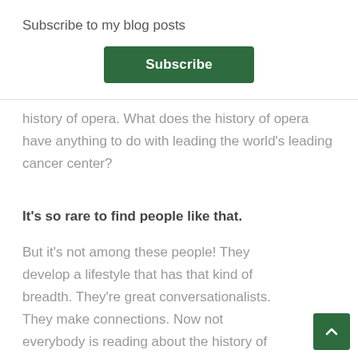×
Subscribe to my blog posts
Subscribe
history of opera. What does the history of opera have anything to do with leading the world's leading cancer center?
It's so rare to find people like that.
But it's not among these people! They develop a lifestyle that has that kind of breadth. They're great conversationalists. They make connections. Now not everybody is reading about the history of opera. But they're intentionally building